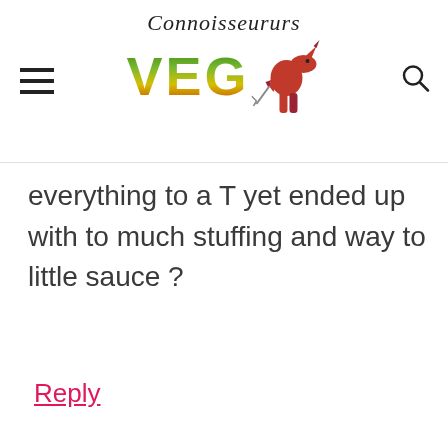Connoisseururs VEG
everything to a T yet ended up with to much stuffing and way to little sauce ?
Reply
Amanda Shah says
[Figure (photo): Hexagonal geometric pattern in grey tones, partially visible avatar image]